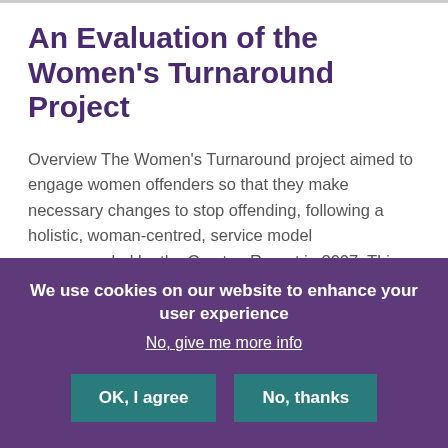An Evaluation of the Women's Turnaround Project
Overview The Women's Turnaround project aimed to engage women offenders so that they make necessary changes to stop offending, following a holistic, woman-centred, service model recommended by the Corston Report in 2007. This project explored the women's and stakeholder's perspectives on what women needed and whether the Turnaround project in North Wales had
We use cookies on our website to enhance your user experience
No, give me more info
OK, I agree
No, thanks